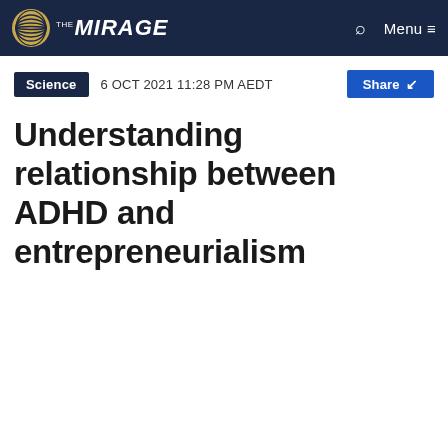THE MIRAGE — Navigation bar with logo, search, and menu
Science  6 OCT 2021 11:28 PM AEDT  Share
Understanding relationship between ADHD and entrepreneurialism